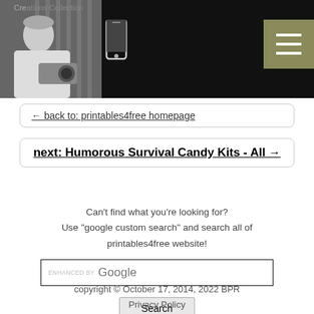[Figure (screenshot): Website header with black background showing a photographer in grayscale photo on the left, a phone icon, site name 'Creations Collection', and a menu button on the right]
← back to: printables4free homepage
next: Humorous Survival Candy Kits - All →
Can't find what you're looking for?
Use "google custom search" and search all of printables4free website!
[Figure (screenshot): Google Custom Search input box with 'ENHANCED BY Google' text]
Search
copyright © October 17, 2014, 2022 BPR
Privacy Policy